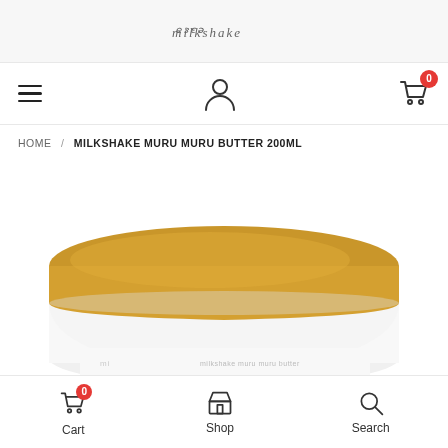Logo / Brand signature (stylized script)
Navigation bar with hamburger menu, user icon, and cart (0)
HOME / MILKSHAKE MURU MURU BUTTER 200ML
[Figure (photo): Close-up of a round jar of Milkshake Muru Muru Butter 200ml, showing a golden/yellow lid on a white jar, cropped at the bottom of the frame.]
Cart (0)  Shop  Search — bottom navigation bar